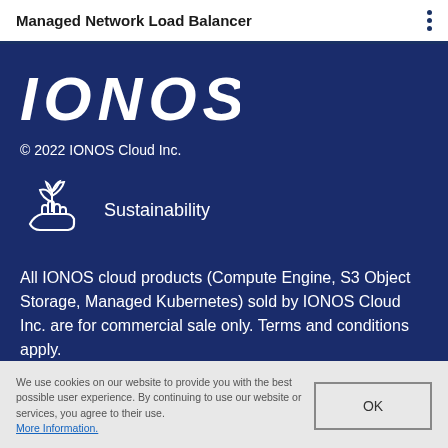Managed Network Load Balancer
[Figure (logo): IONOS logo in large white italic bold letters on dark navy blue background]
© 2022 IONOS Cloud Inc.
[Figure (illustration): White line icon of a hand holding a plant/seedling representing sustainability]
Sustainability
All IONOS cloud products (Compute Engine, S3 Object Storage, Managed Kubernetes) sold by IONOS Cloud Inc. are for commercial sale only. Terms and conditions apply.
We use cookies on our website to provide you with the best possible user experience. By continuing to use our website or services, you agree to their use. More Information.